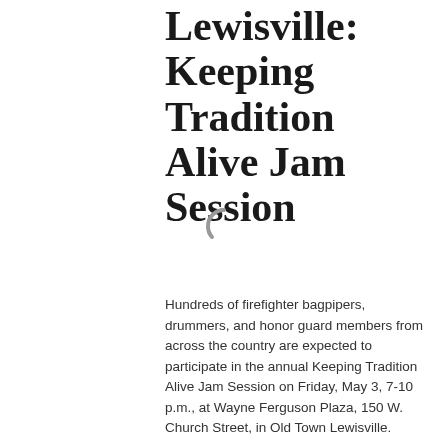Lewisville: Keeping Tradition Alive Jam Session
[Figure (other): Loading spinner / activity indicator icon (partial circle arc in gray)]
Hundreds of firefighter bagpipers, drummers, and honor guard members from across the country are expected to participate in the annual Keeping Tradition Alive Jam Session on Friday, May 3, 7-10 p.m., at Wayne Ferguson Plaza, 150 W. Church Street, in Old Town Lewisville.
The free event, which has become a community favorite, drawing more than 1,000 spectators, will include a series of performances and presentations by participants and instructors at the Keeping Tradition Alive Symposium being held at Lewisville Convention Center.
Maylee Thomas Band will perform at this year's event.